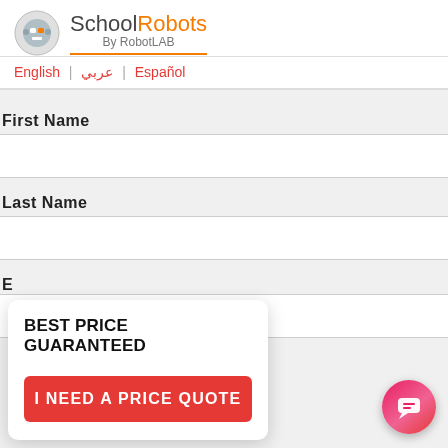School Robots By RobotLAB
English | عربي | Español
First Name
Last Name
BEST PRICE GUARANTEED
I NEED A PRICE QUOTE